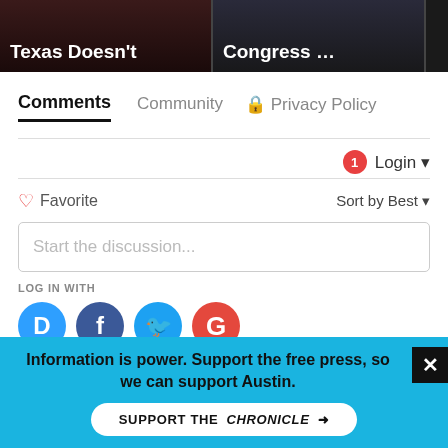[Figure (screenshot): Top strip with two article preview cards on dark background. Left card: 'Texas Doesn't', Right card: 'Congress ...']
Comments | Community | Privacy Policy
1 Login ▾
♡ Favorite   Sort by Best ▾
Start the discussion...
LOG IN WITH
[Figure (infographic): Social login icons: Disqus (blue D), Facebook (dark blue f), Twitter (light blue bird), Google (red G)]
OR SIGN UP WITH DISQUS ?
Name
Information is power. Support the free press, so we can support Austin.
SUPPORT THE CHRONICLE →